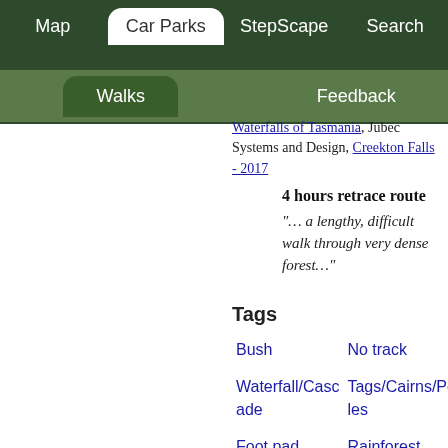Map | Car Parks | StepScape | Search | Walks | Feedback
Waterfalls of Tasmania, Jubec Systems and Design, Creekton Falls - 2017
4 hours retrace route
“… a lengthy, difficult walk through very dense forest…”
Tags
Bush | No track | Waterfall/Cascade | Tags/Cairns/Poles | Foot pad | Rainforest